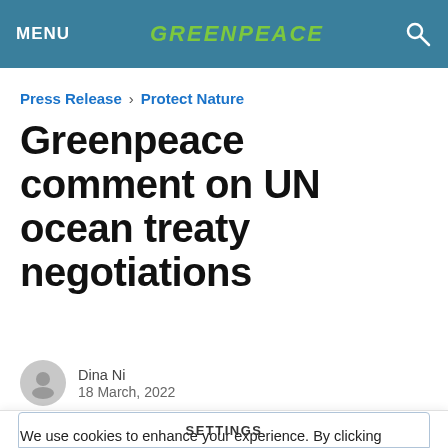MENU | GREENPEACE | [search icon]
Press Release > Protect Nature
Greenpeace comment on UN ocean treaty negotiations
Dina Ni
18 March, 2022
We use cookies to enhance your experience. By clicking "Accept all cookies" you agree to our Privacy & Cookies Policy. You can change your cookies settings anytime.
SETTINGS